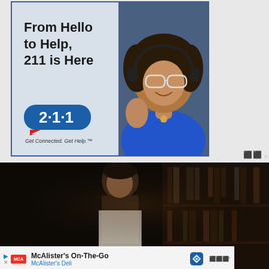[Figure (photo): Advertisement banner: '211 is Here' with a smiling woman wearing a headset and glasses on the right side. Left side shows bold text 'From Hello to Help, 211 is Here' and the 211 logo with tagline 'Get Connected. Get Help.']
[Figure (screenshot): Dark video player frame showing a man in partial profile against a dim background with bookshelves visible.]
[Figure (photo): Bottom advertisement bar for McAlister's On-The-Go by McAlister's Deli, showing the MCA logo, navigation icon, and Moat measurement logo.]